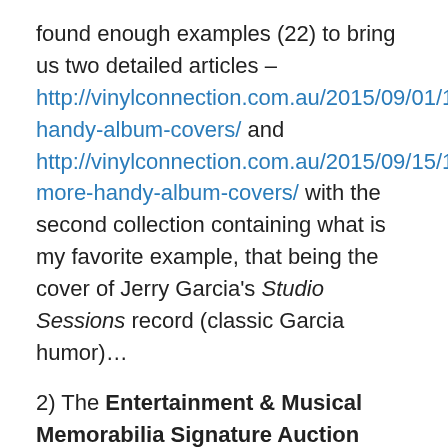found enough examples (22) to bring us two detailed articles – http://vinylconnection.com.au/2015/09/01/10-handy-album-covers/ and http://vinylconnection.com.au/2015/09/15/12-more-handy-album-covers/ with the second collection containing what is my favorite example, that being the cover of Jerry Garcia's Studio Sessions record (classic Garcia humor)…
2) The Entertainment & Musical Memorabilia Signature Auction hosted by Heritage Auction house recently showcased examples of classic graphic design – including a set of Richard Avedon psychedelic Beatles posters done for Stern magazine in 1968 (you'll know them when you see them) – and something really unique done by artist/musician/part-time Beatle Klaus Voorman, that being a 1966 re-working of his iconic cover art for